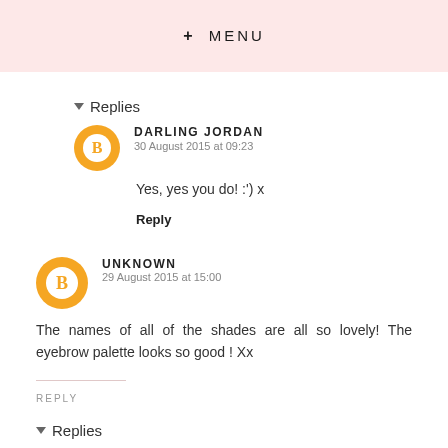MENU
Replies
DARLING JORDAN
30 August 2015 at 09:23
Yes, yes you do! :') x
Reply
UNKNOWN
29 August 2015 at 15:00
The names of all of the shades are all so lovely! The eyebrow palette looks so good ! Xx
REPLY
Replies